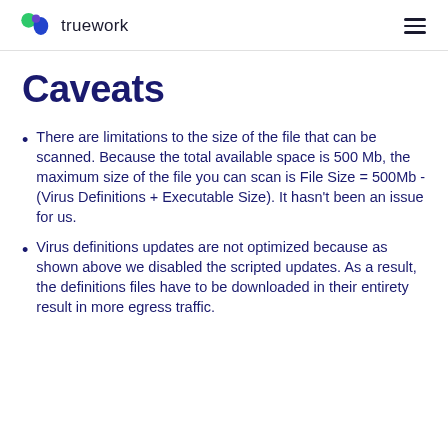truework
Caveats
There are limitations to the size of the file that can be scanned. Because the total available space is 500 Mb, the maximum size of the file you can scan is File Size = 500Mb - (Virus Definitions + Executable Size). It hasn't been an issue for us.
Virus definitions updates are not optimized because as shown above we disabled the scripted updates. As a result, the definitions files have to be downloaded in their entirety result in more egress traffic.